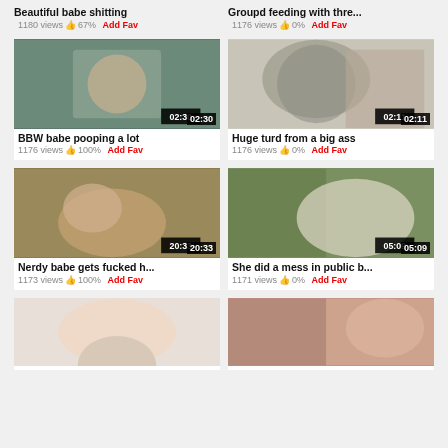Beautiful babe shitting – 1180 views 👍 67% Add Fav
Groupd feeding with thre... – 1176 views 👍 0% Add Fav
[Figure (photo): Video thumbnail showing BBW babe, duration 02:30]
BBW babe pooping a lot
1176 views 👍 100% Add Fav
[Figure (photo): Video thumbnail showing toilet scene, duration 02:11]
Huge turd from a big ass
1176 views 👍 0% Add Fav
[Figure (photo): Video thumbnail of couple scene, duration 20:33]
Nerdy babe gets fucked h...
1173 views 👍 100% Add Fav
[Figure (photo): Video thumbnail of woman in public, duration 05:09]
She did a mess in public b...
1171 views 👍 0% Add Fav
[Figure (photo): Video thumbnail partial, bottom row left]
[Figure (photo): Video thumbnail partial, bottom row right]